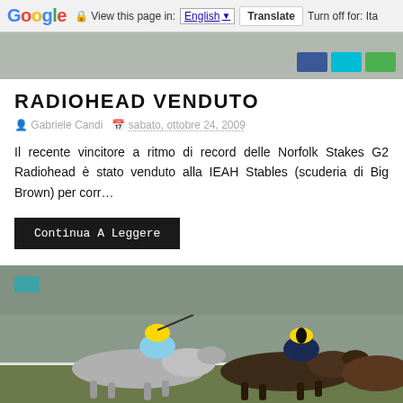Google  View this page in: English [▼]  Translate  Turn off for: Ita
[Figure (photo): Partial banner image at top with social share buttons (blue, cyan, green)]
RADIOHEAD VENDUTO
Gabriele Candi   sabato, ottobre 24, 2009
Il recente vincitore a ritmo di record delle Norfolk Stakes G2 Radiohead è stato venduto alla IEAH Stables (scuderia di Big Brown) per corr...
Continua A Leggere
[Figure (photo): Horse racing photo showing two jockeys on horses racing neck and neck. Left jockey wears blue silks and yellow helmet, right jockey wears dark blue and yellow helmet. A cyan/teal colored square is visible in the top-left corner of the image.]